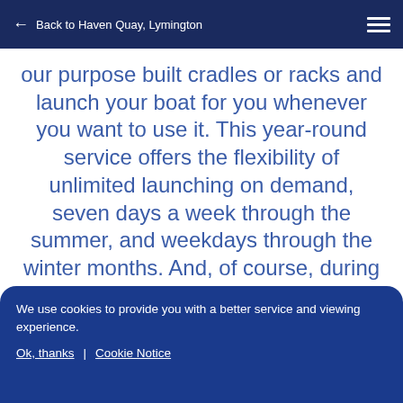Back to Haven Quay, Lymington
our purpose built cradles or racks and launch your boat for you whenever you want to use it. This year-round service offers the flexibility of unlimited launching on demand, seven days a week through the summer, and weekdays through the winter months. And, of course, during the winter, we can launch your boat for you on a Friday, ready for the weekend.
We use cookies to provide you with a better service and viewing experience.
Ok, thanks | Cookie Notice